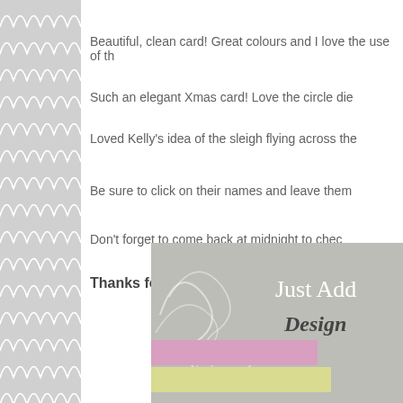[Figure (illustration): Gray scallop/fish-scale decorative pattern on left border]
Beautiful, clean card! Great colours and I love the use of th
Such an elegant Xmas card! Love the circle die
Loved Kelly's idea of the sleigh flying across the
Be sure to click on their names and leave them
Don't forget to come back at midnight to chec
Thanks for playing at Jus
[Figure (photo): Just Add Ink Designer Team logo/badge on gray textured background with pink and yellow paper strips]